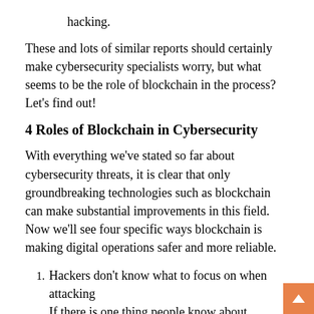hacking.
These and lots of similar reports should certainly make cybersecurity specialists worry, but what seems to be the role of blockchain in the process? Let’s find out!
4 Roles of Blockchain in Cybersecurity
With everything we’ve stated so far about cybersecurity threats, it is clear that only groundbreaking technologies such as blockchain can make substantial improvements in this field. Now we’ll see four specific ways blockchain is making digital operations safer and more reliable.
Hackers don’t know what to focus on when attacking
If there is one thing people know about blockchain, it must be the fact that it represents a decentralized system with no central authority that can control the entire database.